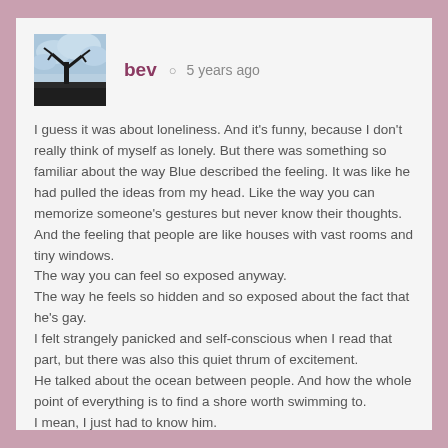[Figure (photo): Avatar photo of user 'bev' — a landscape photo showing a dark silhouette of a tree against a cloudy sky with blue and white tones]
bev  ⊙  5 years ago
I guess it was about loneliness. And it's funny, because I don't really think of myself as lonely. But there was something so familiar about the way Blue described the feeling. It was like he had pulled the ideas from my head. Like the way you can memorize someone's gestures but never know their thoughts. And the feeling that people are like houses with vast rooms and tiny windows.
The way you can feel so exposed anyway.
The way he feels so hidden and so exposed about the fact that he's gay.
I felt strangely panicked and self-conscious when I read that part, but there was also this quiet thrum of excitement.
He talked about the ocean between people. And how the whole point of everything is to find a shore worth swimming to.
I mean, I just had to know him.